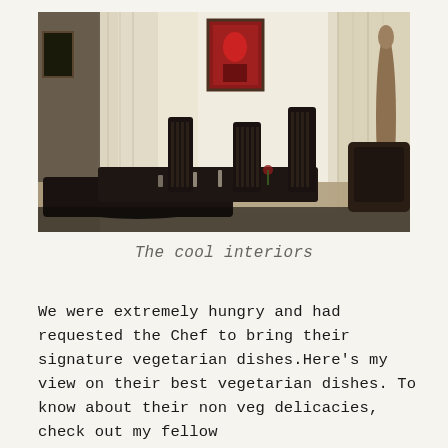[Figure (photo): Interior of a restaurant dining room with dark wooden chairs and tables set for dining, sheer white curtains on windows letting in light, a colorful framed artwork on the wall, and a decorative tall narrow sculpture on the right side.]
The cool interiors
We were extremely hungry and had requested the Chef to bring their signature vegetarian dishes.Here's my view on their best vegetarian dishes. To know about their non veg delicacies, check out my fellow